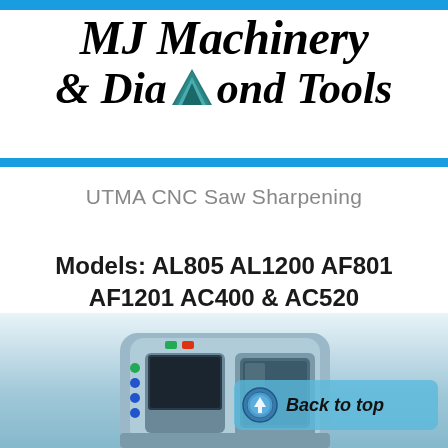MJ Machinery & Diamond Tools
UTMA CNC Saw Sharpening
Models: AL805 AL1200 AF801 AF1201 AC400 & AC520
[Figure (photo): CNC saw sharpening machine (UTMA model) photographed in a workshop setting, with a 'Back to top' button overlay in the bottom right area of the photo.]